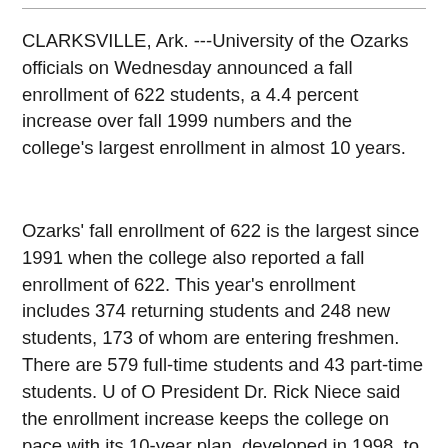CLARKSVILLE, Ark. ---University of the Ozarks officials on Wednesday announced a fall enrollment of 622 students, a 4.4 percent increase over fall 1999 numbers and the college's largest enrollment in almost 10 years.
Ozarks' fall enrollment of 622 is the largest since 1991 when the college also reported a fall enrollment of 622. This year's enrollment includes 374 returning students and 248 new students, 173 of whom are entering freshmen. There are 579 full-time students and 43 part-time students. U of O President Dr. Rick Niece said the enrollment increase keeps the college on pace with its 10-year plan, developed in 1998, to reach an enrollment of 750. "Our fall enrollment is excellent, especially in regard to new students on campus," Dr. Niece said. "The 4.4 percent increase from last fall places us well beyond our 10-year plan. In our initial projections, we thought that it would take